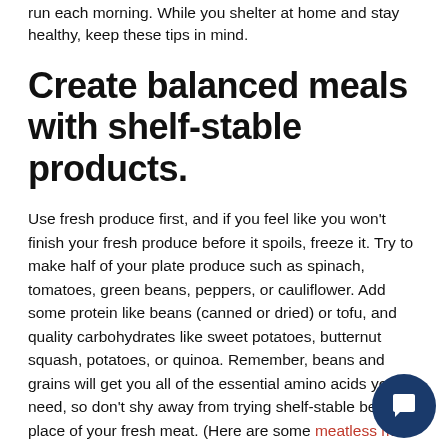run each morning. While you shelter at home and stay healthy, keep these tips in mind.
Create balanced meals with shelf-stable products.
Use fresh produce first, and if you feel like you won't finish your fresh produce before it spoils, freeze it. Try to make half of your plate produce such as spinach, tomatoes, green beans, peppers, or cauliflower. Add some protein like beans (canned or dried) or tofu, and quality carbohydrates like sweet potatoes, butternut squash, potatoes, or quinoa. Remember, beans and grains will get you all of the essential amino acids you need, so don't shy away from trying shelf-stable beans in place of your fresh meat. (Here are some meatless meal staples to look for.)